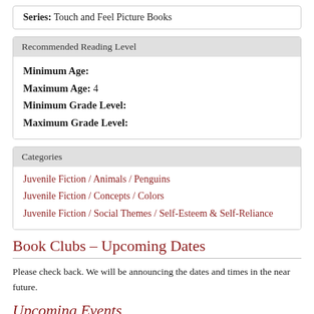Series: Touch and Feel Picture Books
Recommended Reading Level
Minimum Age:
Maximum Age: 4
Minimum Grade Level:
Maximum Grade Level:
Categories
Juvenile Fiction / Animals / Penguins
Juvenile Fiction / Concepts / Colors
Juvenile Fiction / Social Themes / Self-Esteem & Self-Reliance
Book Clubs - Upcoming Dates
Please check back. We will be announcing the dates and times in the near future.
Upcoming Events